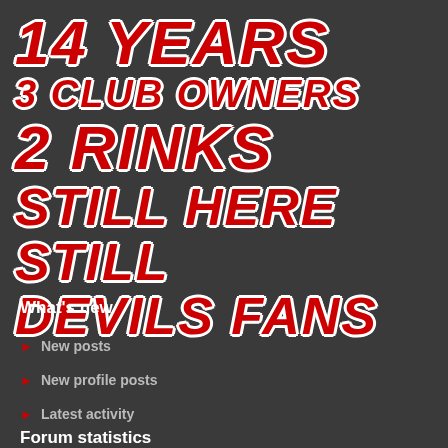[Figure (illustration): Large stylized red italic text on dark gray background reading: 14 YEARS / 3 CLUB OWNERS / 2 RINKS / STILL HERE / STILL / DEVILS FANS]
What's new
New posts
New profile posts
Latest activity
Forum statistics